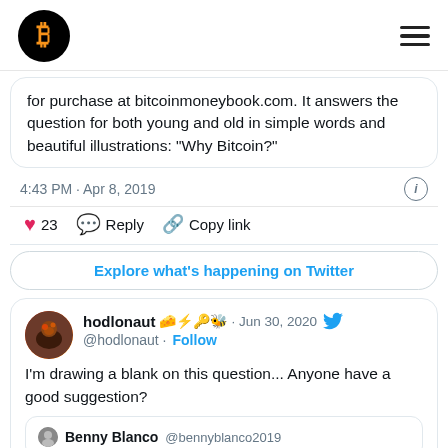Bitcoin logo and navigation menu
for purchase at bitcoinmoneybook.com. It answers the question for both young and old in simple words and beautiful illustrations: “Why Bitcoin?”
4:43 PM · Apr 8, 2019
♥ 23  Reply  Copy link
Explore what's happening on Twitter
hodlonaut 🧀⚡🔑🐝 · Jun 30, 2020
@hodlonaut · Follow
I'm drawing a blank on this question... Anyone have a good suggestion?
Benny Blanco @bennyblanco2019